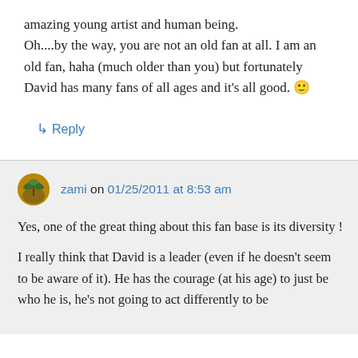amazing young artist and human being. Oh....by the way, you are not an old fan at all. I am an old fan, haha (much older than you) but fortunately David has many fans of all ages and it's all good. 🙂
↳ Reply
zami on 01/25/2011 at 8:53 am
Yes, one of the great thing about this fan base is its diversity !
I really think that David is a leader (even if he doesn't seem to be aware of it). He has the courage (at his age) to just be who he is, he's not going to act differently to be...